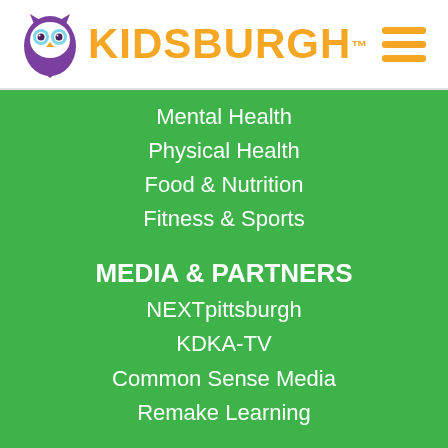[Figure (logo): Kidsburgh logo with purple owl mascot and orange KIDSBURGH™ text]
Mental Health
Physical Health
Food & Nutrition
Fitness & Sports
MEDIA & PARTNERS
NEXTpittsburgh
KDKA-TV
Common Sense Media
Remake Learning
DIRECTORY